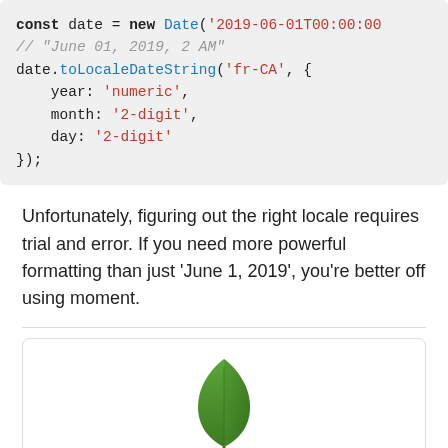[Figure (screenshot): Code block showing JavaScript date formatting with toLocaleDateString using fr-CA locale]
Unfortunately, figuring out the right locale requires trial and error. If you need more powerful formatting than just 'June 1, 2019', you're better off using moment.
[Figure (infographic): MongoDB company card with leaf logo, company name 'MongoDB', role 'Web Engineer, Atlas Growth', location 'New York City']